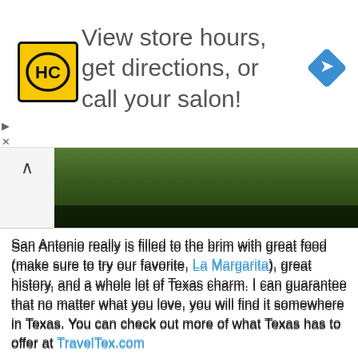[Figure (screenshot): Advertisement banner for Hair Club (HC) with yellow logo, text 'View store hours, get directions, or call your salon!' and a blue navigation diamond icon]
[Figure (photo): Partial aerial or landscape photo showing green fields/grass in dark tones]
San Antonio really is filled to the brim with great food (make sure to try our favorite, La Margarita), great history, and a whole lot of Texas charm. I can guarantee that no matter what you love, you will find it somewhere in Texas. You can check out more of what Texas has to offer at TravelTex.com
$100 Visa Gift Card Giveaway
Travel Texas and BlogHer are sponsoring a great giveaway to one lucky reader. Please leave a comment telling me where you'd like to visit in Texas. You can request a free Texas Travel Guide from the TravelTex.com website where you can get lots of great ideas!